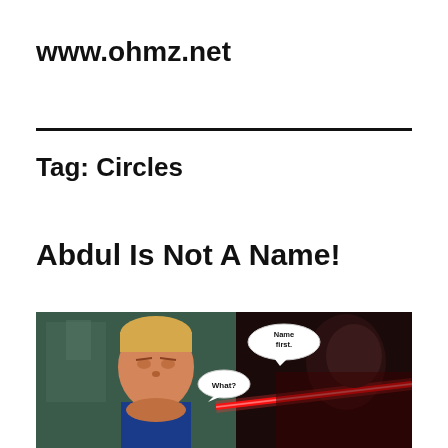www.ohmz.net
Tag: Circles
Abdul Is Not A Name!
[Figure (illustration): Comic book panel showing two characters: a blonde man in a blue outfit and a dark-clad figure holding a red lightsaber. Speech bubbles read 'Name first.' and 'What?']